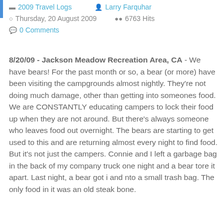2009 Travel Logs   Larry Farquhar   Thursday, 20 August 2009   6763 Hits   0 Comments
8/20/09 - Jackson Meadow Recreation Area, CA - We have bears! For the past month or so, a bear (or more) have been visiting the campgrounds almost nightly. They're not doing much damage, other than getting into someones food. We are CONSTANTLY educating campers to lock their food up when they are not around. But there's always someone who leaves food out overnight. The bears are starting to get used to this and are returning almost every night to find food. But it's not just the campers. Connie and I left a garbage bag in the back of my company truck one night and a bear tore it apart. Last night, a bear got i and nto a small trash bag. The only food in it was an old steak bone.